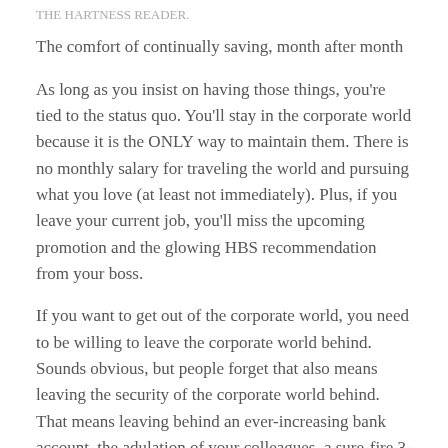THE HARTNESS READER.
The comfort of continually saving, month after month
As long as you insist on having those things, you're tied to the status quo. You'll stay in the corporate world because it is the ONLY way to maintain them. There is no monthly salary for traveling the world and pursuing what you love (at least not immediately). Plus, if you leave your current job, you'll miss the upcoming promotion and the glowing HBS recommendation from your boss.
If you want to get out of the corporate world, you need to be willing to leave the corporate world behind. Sounds obvious, but people forget that also means leaving the security of the corporate world behind. That means leaving behind an ever-increasing bank account, the adulation of your colleagues, a sure-fire 3-year